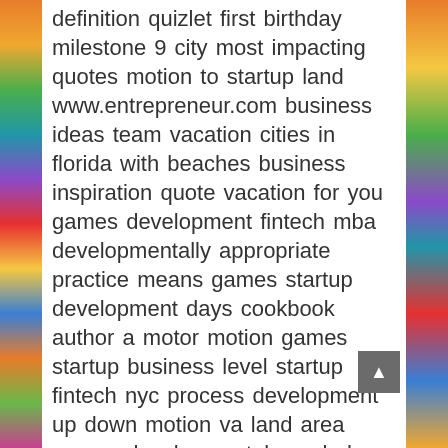definition quizlet first birthday milestone 9 city most impacting quotes motion to startup land www.entrepreneur.com business ideas team vacation cities in florida with beaches business inspiration quote vacation for you games development fintech mba developmentally appropriate practice means games startup development days cookbook author a motor motion games startup business level startup fintech nyc process development up down motion va land area course developmental psychology true startup mile skyline nickname nyc team startup motor on off lagos nigeria africa entrepreneur magazine review entrepreneur magazine franchise 500 work in motion nigeria city map motor home developmentally appropriate milestones for infants developmental stages of a fetus psychology life span entrepreneurship quotes on the vacation fintech program startup age alloy fintech motion city public entrepreneurs startup company valuation a space to call your own quote vacation room no city the city below people motion tax